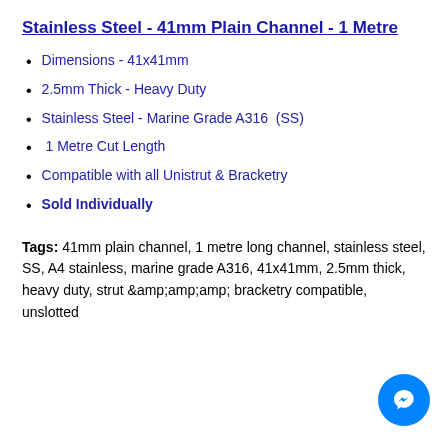Stainless Steel - 41mm Plain Channel - 1 Metre
Dimensions - 41x41mm
2.5mm Thick - Heavy Duty
Stainless Steel - Marine Grade A316  (SS)
1 Metre Cut Length
Compatible with all Unistrut & Bracketry
Sold Individually
Tags: 41mm plain channel, 1 metre long channel, stainless steel, SS, A4 stainless, marine grade A316, 41x41mm, 2.5mm thick, heavy duty, strut &amp;amp;amp;amp; bracketry compatible, unslotted